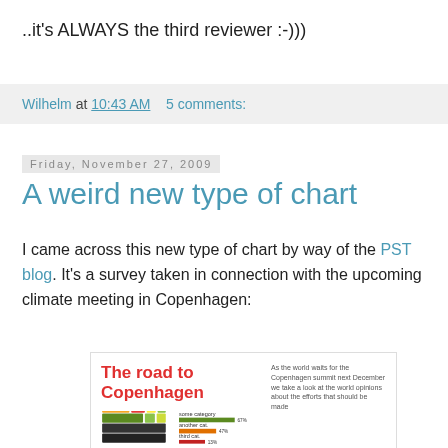..it's ALWAYS the third reviewer :-)))
Wilhelm at 10:43 AM   5 comments:
Friday, November 27, 2009
A weird new type of chart
I came across this new type of chart by way of the PST blog. It's a survey taken in connection with the upcoming climate meeting in Copenhagen:
[Figure (infographic): Infographic titled 'The road to Copenhagen' showing a 3D cube/block chart about world opinions on climate efforts for the Copenhagen summit, with colored blocks and bar chart elements on the right side.]